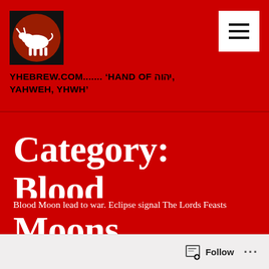[Figure (logo): White bull/ox on a red moon background, black background image]
YHEBREW.COM....... ‘HAND OF יהוה, YAHWEH, YHWH’
Category: Blood Moons
Blood Moon lead to war. Eclipse signal The Lords Feasts
Follow